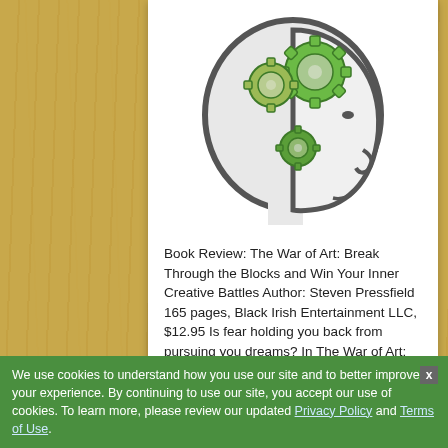[Figure (illustration): Human head silhouette in profile (gray outline) with green mechanical gears inside the brain area, representing thinking/creativity]
Book Review: The War of Art: Break Through the Blocks and Win Your Inner Creative Battles Author: Steven Pressfield 165 pages, Black Irish Entertainment LLC, $12.95 Is fear holding you back from pursuing you dreams? In The War of Art: Break ...
Read More »
The Four Agreements
We use cookies to understand how you use our site and to better improve your experience. By continuing to use our site, you accept our use of cookies. To learn more, please review our updated Privacy Policy and Terms of Use.